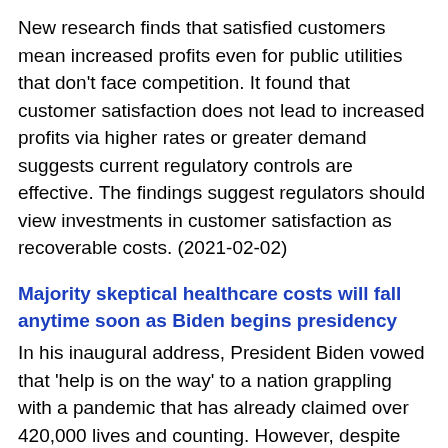New research finds that satisfied customers mean increased profits even for public utilities that don't face competition. It found that customer satisfaction does not lead to increased profits via higher rates or greater demand suggests current regulatory controls are effective. The findings suggest regulators should view investments in customer satisfaction as recoverable costs. (2021-02-02)
Majority skeptical healthcare costs will fall anytime soon as Biden begins presidency
In his inaugural address, President Biden vowed that 'help is on the way' to a nation grappling with a pandemic that has already claimed over 420,000 lives and counting. However, despite the promise of a better future, a new survey from West Health and Gallup finds Americans remain largely skeptical that issues as varied as managing the COVID-19 crisis, lowering healthcare costs, improving the economy, fixing immigration and addressing climate change, will